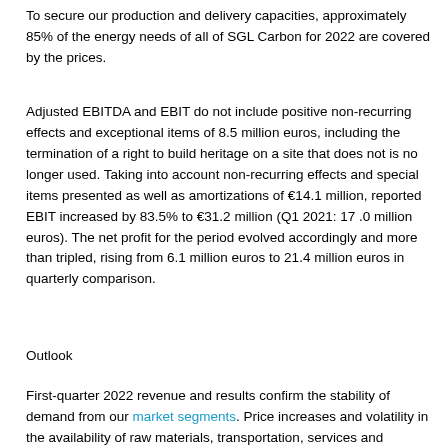To secure our production and delivery capacities, approximately 85% of the energy needs of all of SGL Carbon for 2022 are covered by the prices.
Adjusted EBITDA and EBIT do not include positive non-recurring effects and exceptional items of 8.5 million euros, including the termination of a right to build heritage on a site that does not is no longer used. Taking into account non-recurring effects and special items presented as well as amortizations of €14.1 million, reported EBIT increased by 83.5% to €31.2 million (Q1 2021: 17.0 million euros). The net profit for the period evolved accordingly and more than tripled, rising from 6.1 million euros to 21.4 million euros in quarterly comparison.
Outlook
First-quarter 2022 revenue and results confirm the stability of demand from our market segments. Price increases and volatility in the availability of raw materials, transportation, services and